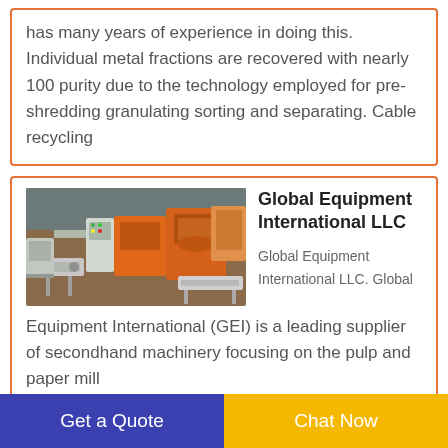has many years of experience in doing this. Individual metal fractions are recovered with nearly 100 purity due to the technology employed for pre-shredding granulating sorting and separating. Cable recycling
[Figure (photo): Industrial cable recycling / granulating machinery equipment on a factory floor with orange and white machines]
Global Equipment International LLC
Global Equipment International LLC. Global Equipment International (GEI) is a leading supplier of secondhand machinery focusing on the pulp and paper mill